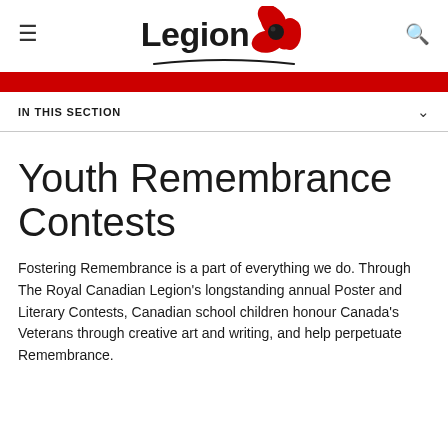≡  Legion  🔍
[Figure (logo): Royal Canadian Legion logo with bold 'Legion' text and red poppy flower graphic with black center]
IN THIS SECTION
Youth Remembrance Contests
Fostering Remembrance is a part of everything we do. Through The Royal Canadian Legion's longstanding annual Poster and Literary Contests, Canadian school children honour Canada's Veterans through creative art and writing, and help perpetuate Remembrance.